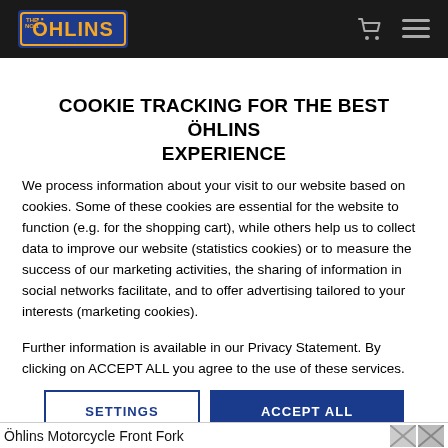Öhlins [logo] [cart icon] [menu icon]
COOKIE TRACKING FOR THE BEST ÖHLINS EXPERIENCE
We process information about your visit to our website based on cookies. Some of these cookies are essential for the website to function (e.g. for the shopping cart), while others help us to collect data to improve our website (statistics cookies) or to measure the success of our marketing activities, the sharing of information in social networks facilitate, and to offer advertising tailored to your interests (marketing cookies).
Further information is available in our Privacy Statement. By clicking on ACCEPT ALL you agree to the use of these services.
SETTINGS  ACCEPT ALL
Privacy Statement    Imprint
Öhlins Motorcycle Front Fork